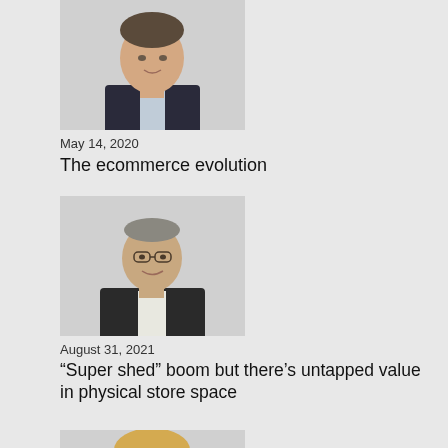[Figure (photo): Headshot of a young man in a dark suit with light shirt, light background]
May 14, 2020
The ecommerce evolution
[Figure (photo): Headshot of a middle-aged man wearing glasses and a dark jacket, smiling]
August 31, 2021
“Super shed” boom but there’s untapped value in physical store space
[Figure (photo): Headshot of a man with dark stubble wearing a white shirt, dark background]
March 2, 2022
With shop price inflation the highest in a decade, continued focus on empathy as part of the customer experience is vital
[Figure (photo): Partial headshot of a person with blonde hair, cropped at bottom of page]